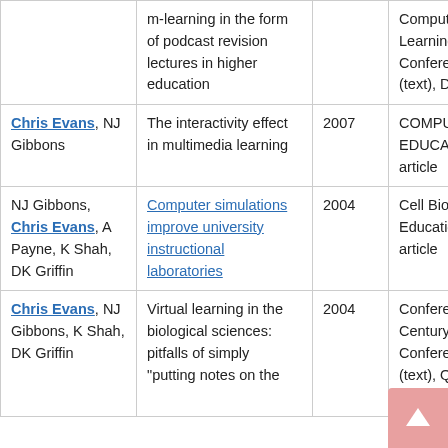| Authors | Title | Year | Venue |
| --- | --- | --- | --- |
|  | m-learning in the form of podcast revision lectures in higher education |  | Computer Assisted Learning (CAL 07), Conference paper (text), Dublin, Ireland |
| Chris Evans, NJ Gibbons | The interactivity effect in multimedia learning | 2007 | COMPUTERS & EDUCATION, Journal article |
| NJ Gibbons, Chris Evans, A Payne, K Shah, DK Griffin | Computer simulations improve university instructional laboratories | 2004 | Cell Biology Education, Journal article |
| Chris Evans, NJ Gibbons, K Shah, DK Griffin | Virtual learning in the biological sciences: pitfalls of simply "putting notes on the" | 2004 | Conference on 21st Century Learning, Conference paper (text), Queens Univ Belfast, Belfast |